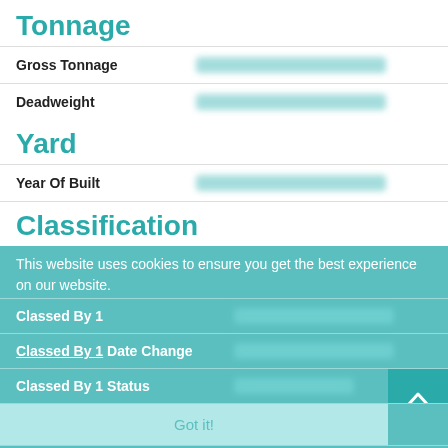Tonnage
| Field | Value |
| --- | --- |
| Gross Tonnage | [redacted] |
| Deadweight | [redacted] |
Yard
| Field | Value |
| --- | --- |
| Year Of Built | [redacted] |
Classification
This website uses cookies to ensure you get the best experience on our website.
| Field | Value |
| --- | --- |
| Classed By 1 | [redacted] |
| Classed By 1 Date Change | [redacted] |
| Classed By 1 Status | [redacted] |
| Classed By 2 |  |
| Classed By 2 Date Change | [redacted] |
Got it!